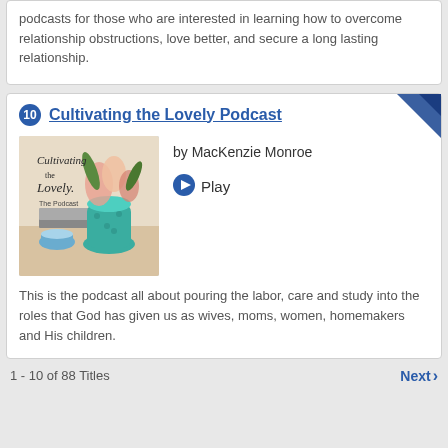podcasts for those who are interested in learning how to overcome relationship obstructions, love better, and secure a long lasting relationship.
10 Cultivating the Lovely Podcast
[Figure (photo): Podcast cover art for 'Cultivating the Lovely - The Podcast' showing a teal vase with flowers on a table with books and a blue cup]
by MacKenzie Monroe
Play
This is the podcast all about pouring the labor, care and study into the roles that God has given us as wives, moms, women, homemakers and His children.
1 - 10 of 88 Titles      Next >